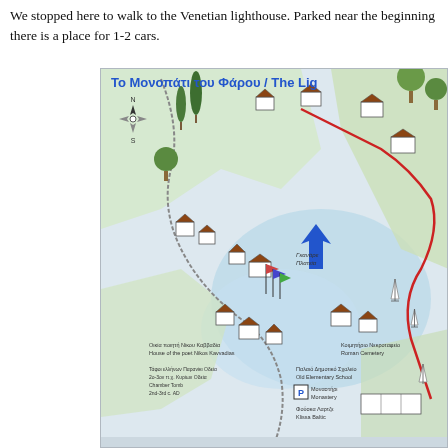We stopped here to walk to the Venetian lighthouse. Parked near the beginning there is a place for 1-2 cars.
[Figure (map): Illustrated tourist map showing 'Το Μονοπάτι του Φάρου / The Lighthouse Path' with hand-drawn buildings, trees, a harbor with sailboats, paths, and labels in Greek and English including: Οικία ποιητή Νίκου Καββαδία / House of the poet Nikos Kavvadias, Παλαιό Δημοτικό Σχολείο / Old Elementary School, Μοναστήρι / Monastery, Τάφοι ελλήνων / Κυρίων Τόμβ / Chamber Tomb 2nd-3rd c. AD, Παρανίκι Οδεία / Κυρίων Οδεία, Γκανάρε Πλατεία / Ganaro Plateia, Φούσκα Λαρτζε / Klissa Baltic, Κοιμητήριο Νεκροταφείο / Roman Cemetery, compass rose, blue arrow pointing to a location, red path line, and parking symbol.]